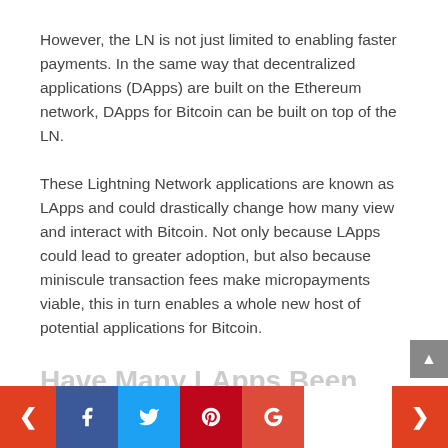However, the LN is not just limited to enabling faster payments. In the same way that decentralized applications (DApps) are built on the Ethereum network, DApps for Bitcoin can be built on top of the LN.
These Lightning Network applications are known as LApps and could drastically change how many view and interact with Bitcoin. Not only because LApps could lead to greater adoption, but also because miniscule transaction fees make micropayments viable, this in turn enables a whole new host of potential applications for Bitcoin.
Have Many LApps Been Created Yet?